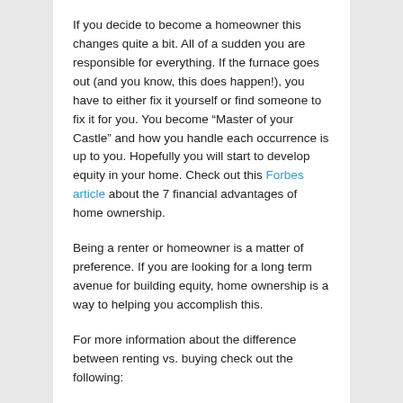If you decide to become a homeowner this changes quite a bit. All of a sudden you are responsible for everything. If the furnace goes out (and you know, this does happen!), you have to either fix it yourself or find someone to fix it for you. You become “Master of your Castle” and how you handle each occurrence is up to you. Hopefully you will start to develop equity in your home. Check out this Forbes article about the 7 financial advantages of home ownership.
Being a renter or homeowner is a matter of preference. If you are looking for a long term avenue for building equity, home ownership is a way to helping you accomplish this.
For more information about the difference between renting vs. buying check out the following:
Fidelity Rent vs. Buying
Nerd Wallet Rent vs. Buy Calculator